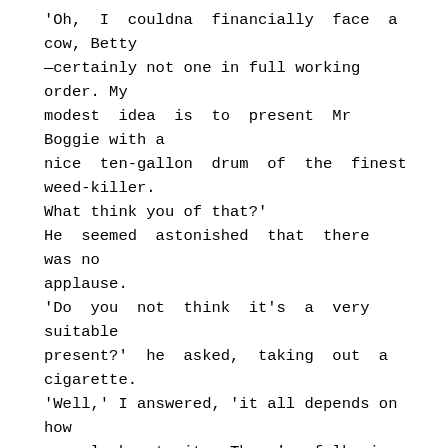'Oh, I couldna financially face a cow, Betty —certainly not one in full working order. My modest idea is to present Mr Boggie with a nice ten-gallon drum of the finest weed-killer. What think you of that?' He seemed astonished that there was no applause. 'Do you not think it's a very suitable present?' he asked, taking out a cigarette. 'Well,' I answered, 'it all depends on how you look at it. There's folk in